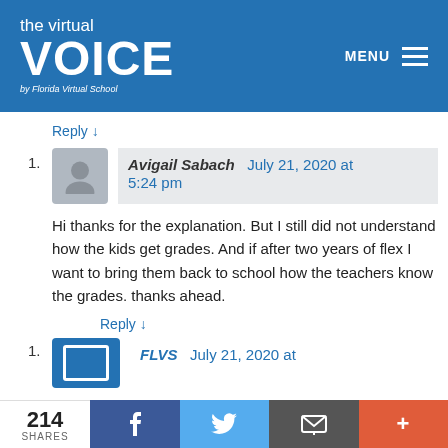[Figure (logo): The Virtual Voice by Florida Virtual School logo on blue header with MENU hamburger icon]
Reply ↓
Avigail Sabach   July 21, 2020 at 5:24 pm
Hi thanks for the explanation. But I still did not understand how the kids get grades. And if after two years of flex I want to bring them back to school how the teachers know the grades. thanks ahead.
Reply ↓
FLVS   July 21, 2020 at
214 SHARES  [Facebook] [Twitter] [Email] [More]